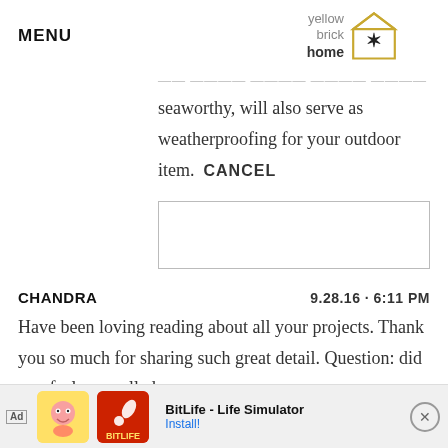MENU | yellow brick home logo
...the content which makes it seaworthy, will also serve as weatherproofing for your outdoor item. CANCEL
[Figure (other): Empty comment input text box with border]
CHANDRA   9.28.16 · 6:11 PM
Have been loving reading about all your projects. Thank you so much for sharing such great detail. Question: did you feel compelled to ... way wa...
[Figure (screenshot): Ad banner: BitLife - Life Simulator, Install! with close button]